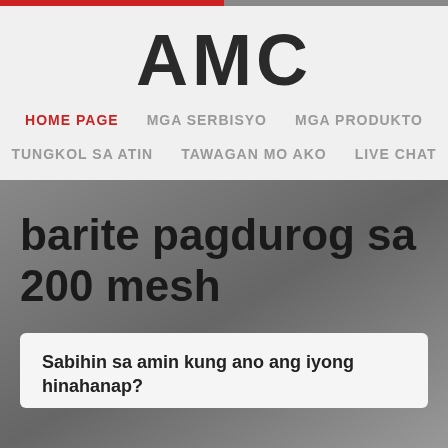AMC
HOME PAGE   MGA SERBISYO   MGA PRODUKTO   TUNGKOL SA ATIN   TAWAGAN MO AKO   LIVE CHAT
barite pagdurog sa 200 mesh
Sabihin sa amin kung ano ang iyong hinahanap?